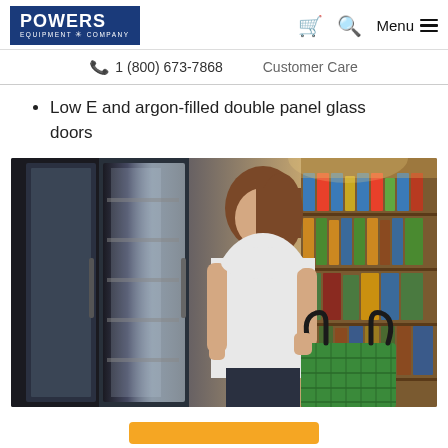POWERS EQUIPMENT COMPANY — Navigation: Cart, Search, Menu | 1 (800) 673-7868 | Customer Care
Low E and argon-filled double panel glass doors
[Figure (photo): Woman holding a green shopping basket standing in front of glass refrigerator doors in a grocery store, looking up at the contents on the shelves.]
(Orange button/call-to-action strip at bottom)